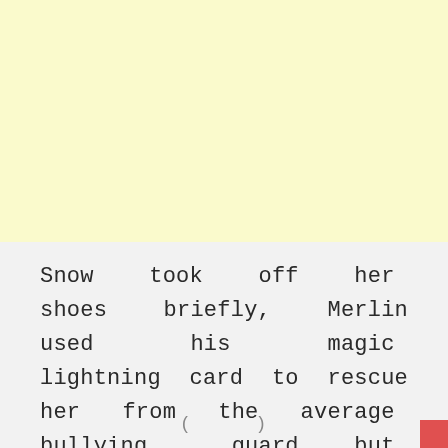Snow took off her shoes briefly, Merlin used his magic lightning card to rescue her from the average bullying guard, but because he d✕'t know her, he